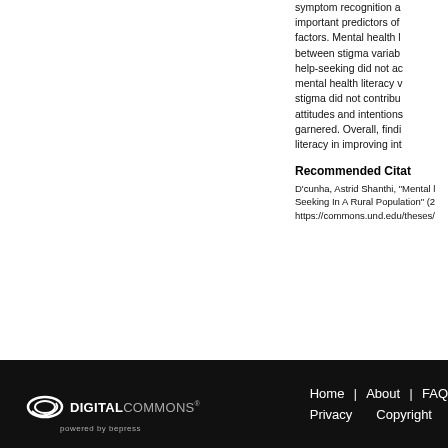symptom recognition and important predictors of factors. Mental health l between stigma variab help-seeking did not ac mental health literacy v stigma did not contribu attitudes and intentions garnered. Overall, findi literacy in improving int
Recommended Citat
D'cunha, Astrid Shanthi, "Mental Seeking In A Rural Population" (2 https://commons.und.edu/theses/
DIGITAL COMMONS powered by bepress | Home | About | FAQ | Privacy | Copyright